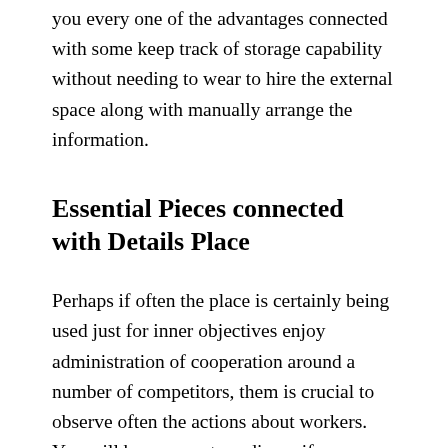you every one of the advantages connected with some keep track of storage capability without needing to wear to hire the external space along with manually arrange the information.
Essential Pieces connected with Details Place
Perhaps if often the place is certainly being used just for inner objectives enjoy administration of cooperation around a number of competitors, them is crucial to observe often the actions about workers. You will be more extraordinary if you actually might additionally provide delivering